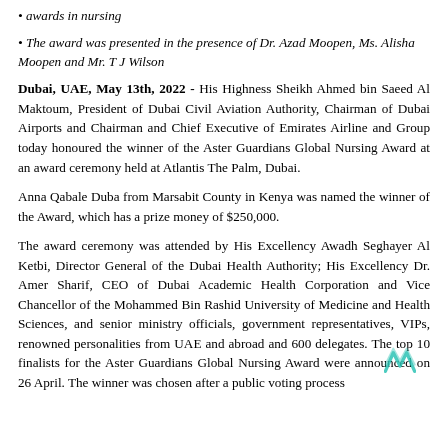awards in nursing
The award was presented in the presence of Dr. Azad Moopen, Ms. Alisha Moopen and Mr. T J Wilson
Dubai, UAE, May 13th, 2022 - His Highness Sheikh Ahmed bin Saeed Al Maktoum, President of Dubai Civil Aviation Authority, Chairman of Dubai Airports and Chairman and Chief Executive of Emirates Airline and Group today honoured the winner of the Aster Guardians Global Nursing Award at an award ceremony held at Atlantis The Palm, Dubai.
Anna Qabale Duba from Marsabit County in Kenya was named the winner of the Award, which has a prize money of $250,000.
The award ceremony was attended by His Excellency Awadh Seghayer Al Ketbi, Director General of the Dubai Health Authority; His Excellency Dr. Amer Sharif, CEO of Dubai Academic Health Corporation and Vice Chancellor of the Mohammed Bin Rashid University of Medicine and Health Sciences, and senior ministry officials, government representatives, VIPs, renowned personalities from UAE and abroad and 600 delegates. The top 10 finalists for the Aster Guardians Global Nursing Award were announced on 26 April. The winner was chosen after a public voting process